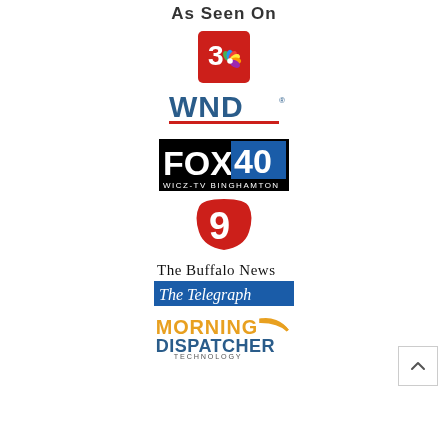As Seen On
[Figure (logo): NBC 3 logo - red square with number 3 and NBC peacock]
[Figure (logo): WND (WorldNetDaily) logo - bold letters WND with red underline]
[Figure (logo): FOX 40 WICZ-TV Binghamton logo]
[Figure (logo): Channel 9 logo - red numeral 9 in swoosh]
[Figure (logo): The Buffalo News logo]
[Figure (logo): The Telegraph logo]
[Figure (logo): Morning Dispatcher Technology logo]